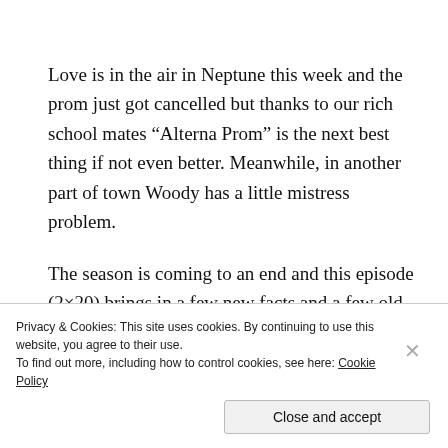Love is in the air in Neptune this week and the prom just got cancelled but thanks to our rich school mates “Alterna Prom” is the next best thing if not even better. Meanwhile, in another part of town Woody has a little mistress problem.
The season is coming to an end and this episode (2×20) brings in a few new facts and a few old ones get revisited. Even if you are starting to get fed up with the
Privacy & Cookies: This site uses cookies. By continuing to use this website, you agree to their use.
To find out more, including how to control cookies, see here: Cookie Policy